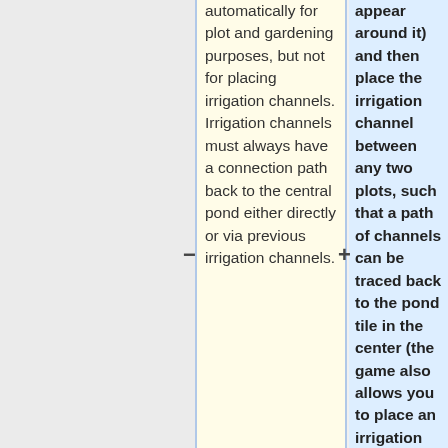automatically for plot and gardening purposes, but not for placing irrigation channels. Irrigation channels must always have a connection path back to the central pond either directly or via previous irrigation channels.
appear around it) and then place the irrigation channel between any two plots, such that a path of channels can be traced back to the pond tile in the center (the game also allows you to place an irrigation beside the pond, but that is a wasted move as the 6 plots directly beside the pond are considered to be irrigated